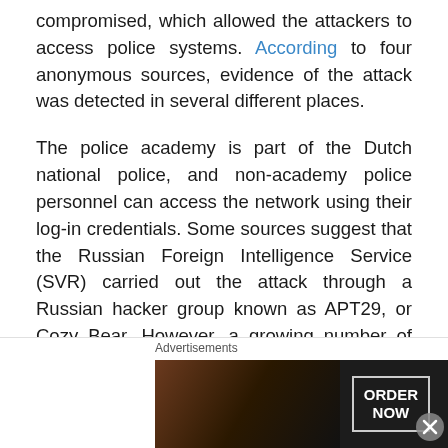compromised, which allowed the attackers to access police systems. According to four anonymous sources, evidence of the attack was detected in several different places.
The police academy is part of the Dutch national police, and non-academy police personnel can access the network using their log-in credentials. Some sources suggest that the Russian Foreign Intelligence Service (SVR) carried out the attack through a Russian hacker group known as APT29, or Cozy Bear. However, a growing number of sources claim the attack was perpetrated by the Main Directorate of the Russian Armed Forces' General Staff, known commonly as GRU, through
Advertisements
[Figure (screenshot): Advertisement banner showing pizza image, seamless logo in red, and 'ORDER NOW' button on dark background]